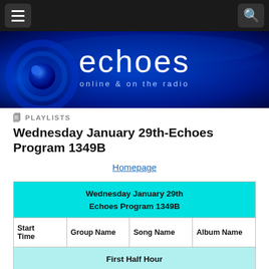echoes online & on the radio
PLAYLISTS
Wednesday January 29th-Echoes Program 1349B
Homepage
| Start Time | Group Name | Song Name | Album Name |
| --- | --- | --- | --- |
| Wednesday January 29th
Echoes Program 1349B |  |  |  |
| Start Time | Group Name | Song Name | Album Name |
| First Half Hour |  |  |  |
| 0:01:00 | Bat for Lashes | Siren Song [iTunes] | Two Suns |